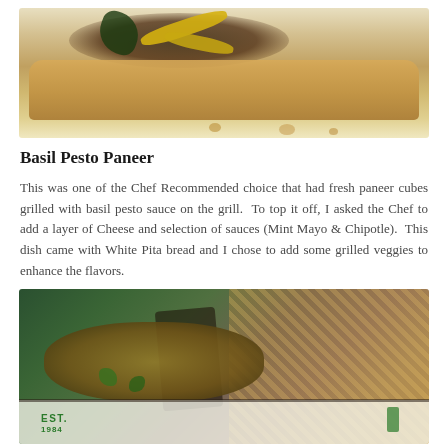[Figure (photo): Close-up photo of a flatbread/pita topped with grilled vegetables including yellow peppers and dark leafy greens, on a white surface with crumbs]
Basil Pesto Paneer
This was one of the Chef Recommended choice that had fresh paneer cubes grilled with basil pesto sauce on the grill.  To top it off, I asked the Chef to add a layer of Cheese and selection of sauces (Mint Mayo & Chipotle).  This dish came with White Pita bread and I chose to add some grilled veggies to enhance the flavors.
[Figure (photo): Photo of grilled paneer and vegetables on a white paper-lined tray, with a person in a green apron and a wicker basket visible in the background. Text 'EST. 1984' visible on the paper tray liner.]